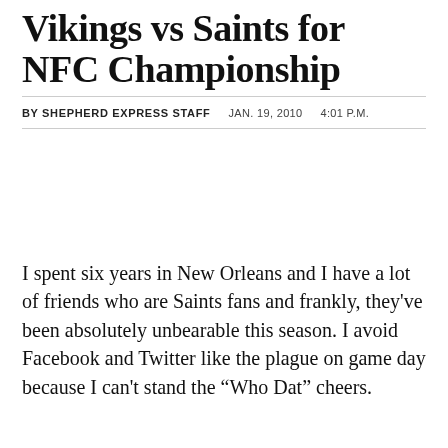Vikings vs Saints for NFC Championship
BY SHEPHERD EXPRESS STAFF   JAN. 19, 2010   4:01 P.M.
I spent six years in New Orleans and I have a lot of friends who are Saints fans and frankly, they've been absolutely unbearable this season. I avoid Facebook and Twitter like the plague on game day because I can't stand the “Who Dat” cheers.